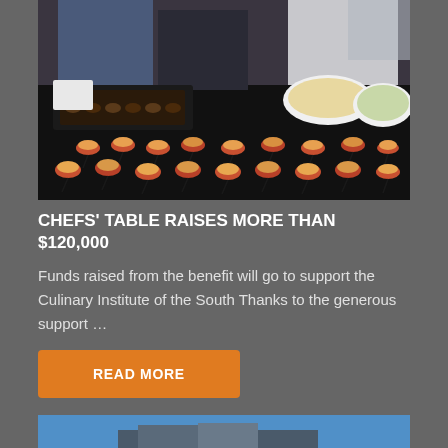[Figure (photo): Catering event photo showing multiple appetizers/hors d'oeuvres arranged on a black table with chefs standing behind]
CHEFS' TABLE RAISES MORE THAN $120,000
Funds raised from the benefit will go to support the Culinary Institute of the South Thanks to the generous support …
READ MORE
[Figure (photo): Partial view of second article image showing blue sky and building]